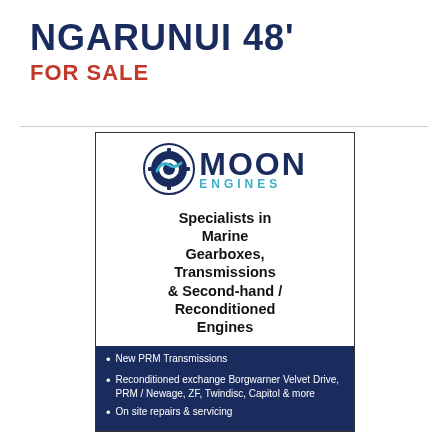NGARUNUI 48'
FOR SALE
[Figure (logo): Moon Engines advertisement with logo, tagline 'Specialists in Marine Gearboxes, Transmissions & Second-hand / Reconditioned Engines', and bullet point list on dark blue background]
New PRM Transmissions
Reconditioned exchange Borgwarner Velvet Drive, PRM / Newage, ZF, Twindisc, Capitol & more
On site repairs & servicing